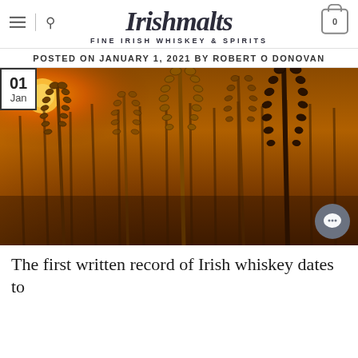Irishmalts — FINE IRISH WHISKEY & SPIRITS
POSTED ON JANUARY 1, 2021 BY ROBERT O DONOVAN
[Figure (photo): Close-up of golden wheat/barley stalks in a field at sunset with warm orange light in background. Date badge overlay showing '01 Jan' in top-left corner.]
The first written record of Irish whiskey dates to